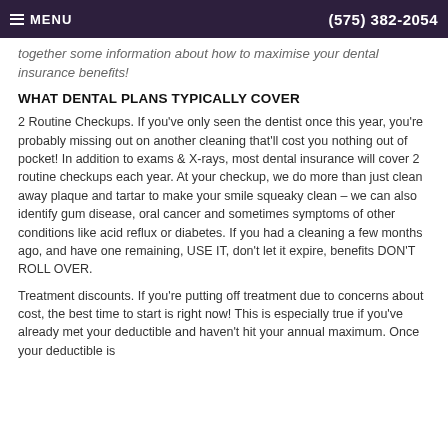MENU   (575) 382-2054
together some information about how to maximise your dental insurance benefits!
WHAT DENTAL PLANS TYPICALLY COVER
2 Routine Checkups. If you've only seen the dentist once this year, you're probably missing out on another cleaning that'll cost you nothing out of pocket! In addition to exams & X-rays, most dental insurance will cover 2 routine checkups each year. At your checkup, we do more than just clean away plaque and tartar to make your smile squeaky clean – we can also identify gum disease, oral cancer and sometimes symptoms of other conditions like acid reflux or diabetes. If you had a cleaning a few months ago, and have one remaining, USE IT, don't let it expire, benefits DON'T ROLL OVER.
Treatment discounts. If you're putting off treatment due to concerns about cost, the best time to start is right now! This is especially true if you've already met your deductible and haven't hit your annual maximum. Once your deductible is paid, you get a free discount on your care and potentially